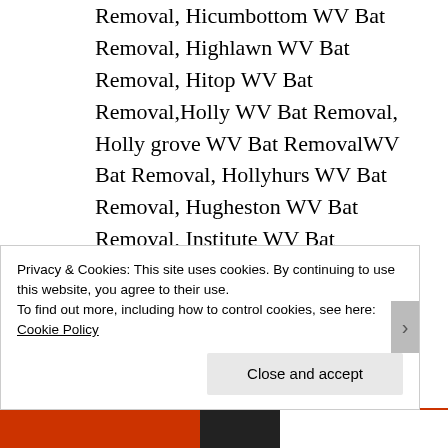Removal, Hicumbottom WV Bat Removal, Highlawn WV Bat Removal, Hitop WV Bat Removal,Holly WV Bat Removal, Holly grove WV Bat RemovalWV Bat Removal, Hollyhurs WV Bat Removal, Hugheston WV Bat Removal, Institute WV Bat Removal, Island Branch WV Bat Removal, Iuydale WV Bat
Privacy & Cookies: This site uses cookies. By continuing to use this website, you agree to their use.
To find out more, including how to control cookies, see here: Cookie Policy